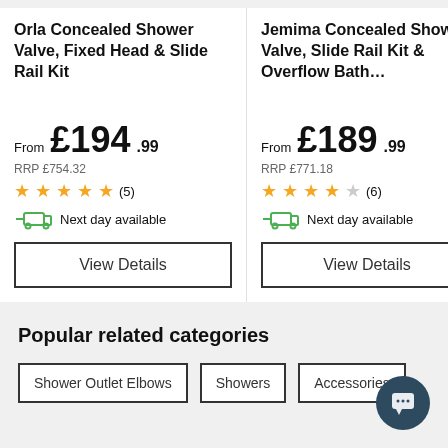Orla Concealed Shower Valve, Fixed Head & Slide Rail Kit
From £194.99
RRP £754.32
★★★★★ (5)
Next day available
View Details
Jemima Concealed Shower Valve, Slide Rail Kit & Overflow Bath...
From £189.99
RRP £771.18
★★★★☆ (6)
Next day available
View Details
Vella Rect Ther
£14
RRP £
★★★
Next day available
Popular related categories
Shower Outlet Elbows
Showers
Accessories